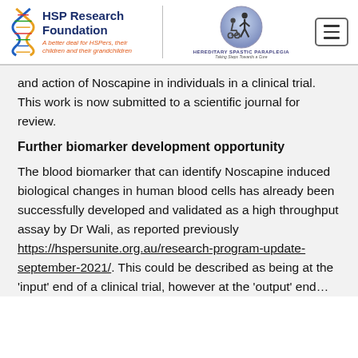HSP Research Foundation — A better deal for HSPers, their children and their grandchildren | Hereditary Spastic Paraplegia — Taking Steps Towards a Cure
and action of Noscapine in individuals in a clinical trial. This work is now submitted to a scientific journal for review.
Further biomarker development opportunity
The blood biomarker that can identify Noscapine induced biological changes in human blood cells has already been successfully developed and validated as a high throughput assay by Dr Wali, as reported previously https://hspersunite.org.au/research-program-update-september-2021/. This could be described as being at the 'input' end of a clinical trial, however at the 'output' end…